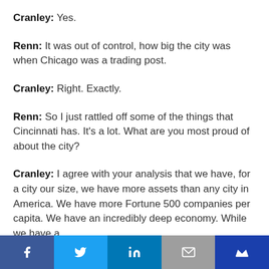Cranley: Yes.
Renn: It was out of control, how big the city was when Chicago was a trading post.
Cranley: Right. Exactly.
Renn: So I just rattled off some of the things that Cincinnati has. It's a lot. What are you most proud of about the city?
Cranley: I agree with your analysis that we have, for a city our size, we have more assets than any city in America. We have more Fortune 500 companies per capita. We have an incredibly deep economy. While we have a
Social share bar: Facebook, Twitter, LinkedIn, Email, Crown